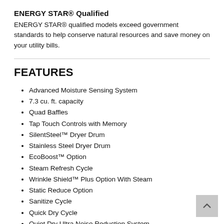ENERGY STAR® Qualified
ENERGY STAR® qualified models exceed government standards to help conserve natural resources and save money on your utility bills.
FEATURES
Advanced Moisture Sensing System
7.3 cu. ft. capacity
Quad Baffles
Tap Touch Controls with Memory
SilentSteel™ Dryer Drum
Stainless Steel Dryer Drum
EcoBoost™ Option
Steam Refresh Cycle
Wrinkle Shield™ Plus Option With Steam
Static Reduce Option
Sanitize Cycle
Quick Dry Cycle
Quiet Dry Ultra Noise Reduction System